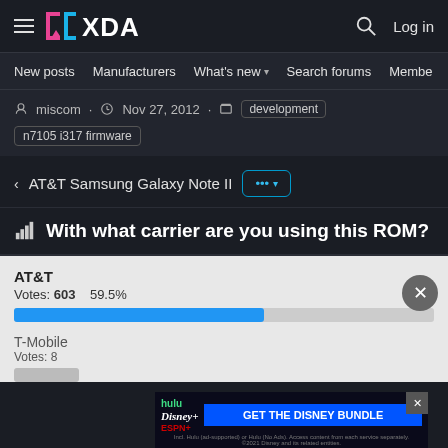XDA | Log in
New posts  Manufacturers  What's new  Search forums  Members >
miscom · Nov 27, 2012 · development  n7105 i317 firmware
< AT&T Samsung Galaxy Note II  ... ▾
With what carrier are you using this ROM?
AT&T
Votes: 603   59.5%
T-Mobile
Votes: 8
[Figure (infographic): Disney Bundle advertisement with Hulu, Disney+, ESPN+ logos and GET THE DISNEY BUNDLE CTA button]